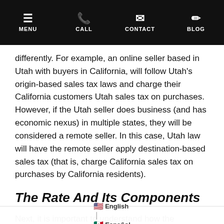MENU  CALL  CONTACT  BLOG
differently. For example, an online seller based in Utah with buyers in California, will follow Utah's origin-based sales tax laws and charge their California customers Utah sales tax on purchases. However, if the Utah seller does business (and has economic nexus) in multiple states, they will be considered a remote seller. In this case, Utah law will have the remote seller apply destination-based sales tax (that is, charge California sales tax on purchases by California residents).
The Rate And Its Components
Next, it is important to understand how the appropriate sales tax rate should be calculated. The total sales tax rate